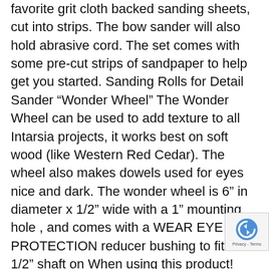favorite grit cloth backed sanding sheets, cut into strips. The bow sander will also hold abrasive cord. The set comes with some pre-cut strips of sandpaper to help get you started. Sanding Rolls for Detail Sander “Wonder Wheel” The Wonder Wheel can be used to add texture to all Intarsia projects, it works best on soft wood (like Western Red Cedar). The wheel also makes dowels used for eyes nice and dark. The wonder wheel is 6” in diameter x 1/2” wide with a 1” mounting hole , and comes with a WEAR EYE PROTECTION reducer bushing to fit a 1/2” shaft on When using this product! your bench or pedestal grinder. Max R.P.M. is 4,500 and works perfect #H-WW from 3,000 to 4,000 R.P.M. $29.95ea. Sanding Drums Not Included IS-G150.............. 150 grit 1”x 10 yard roll...............$10.00 IS-G180.............. 180 grit 1”x 10 yard roll...............$10.00 WIPING GEL FINISHES CLEAR GEL # OM $ 9.85 pint WHITE GEL # OMW $ 9.85 pint Gel Finish We use three coats of this gel on our projects